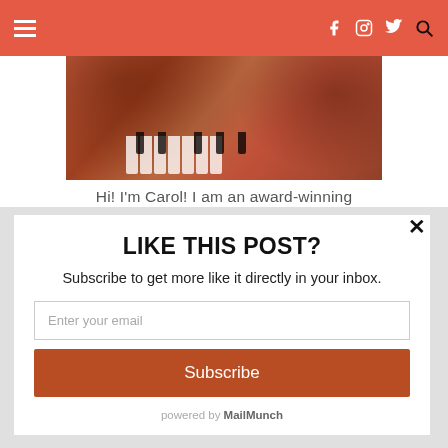Navigation header with hamburger menu and social icons (Facebook, Instagram, Twitter, Search)
[Figure (photo): Warm tinted photo of a person with curly hair playing piano keys, orange/red color grading]
Hi! I'm Carol! I am an award-winning
LIKE THIS POST?
Subscribe to get more like it directly in your inbox.
Enter your email
Subscribe
powered by MailMunch